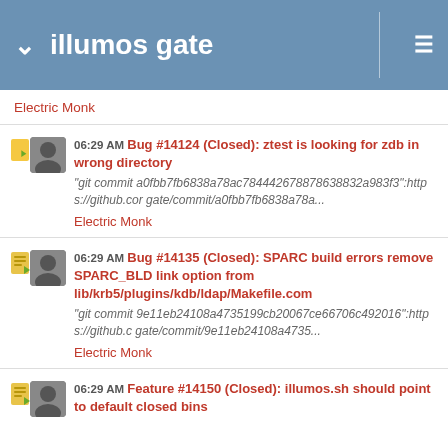illumos gate
Electric Monk
06:29 AM Bug #14124 (Closed): ztest is looking for zdb in wrong directory
"git commit a0fbb7fb6838a78ac784442678788638832a983f3":https://github.com gate/commit/a0fbb7fb6838a78a...
Electric Monk
06:29 AM Bug #14135 (Closed): SPARC build errors remove SPARC_BLD link option from lib/krb5/plugins/kdb/ldap/Makefile.com
"git commit 9e11eb24108a4735199cb20067ce66706c492016":https://github.com gate/commit/9e11eb24108a4735...
Electric Monk
06:29 AM Feature #14150 (Closed): illumos.sh should point to default closed bins